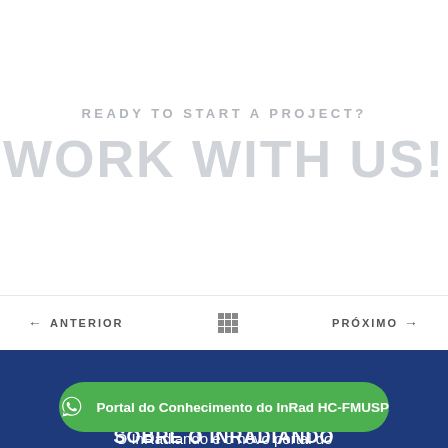READY TO START A PROJECT?
WORK WITH US!
← ANTERIOR
[Figure (other): Grid/menu icon in navigation bar]
PRÓXIMO →
SOBRE O INRADIANDO
Portal do Conhecimento do InRad HC-FMUSP
O InRadiando é o novo portal do